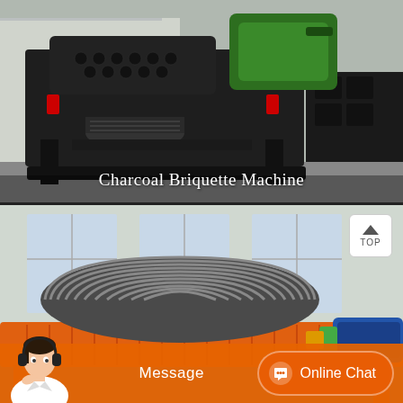[Figure (photo): Industrial charcoal briquette machine, large black metal machinery with green motor/gearbox on upper right, photographed in a factory yard. Text overlay at bottom reads 'Charcoal Briquette Machine'.]
Charcoal Briquette Machine
[Figure (photo): Orange industrial magnetic separator or drum filter machine with a large ribbed/corrugated cylindrical drum on top, orange frame and conveyor trough, blue motor on right, photographed outdoors near a building with large windows.]
Message
Online Chat